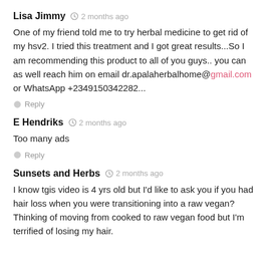Lisa Jimmy  2 months ago
One of my friend told me to try herbal medicine to get rid of my hsv2. I tried this treatment and I got great results...So I am recommending this product to all of you guys.. you can as well reach him on email dr.apalaherbalhome@gmail.com or WhatsApp +2349150342282...
Reply
E Hendriks  2 months ago
Too many ads
Reply
Sunsets and Herbs  2 months ago
I know tgis video is 4 yrs old but I'd like to ask you if you had hair loss when you were transitioning into a raw vegan? Thinking of moving from cooked to raw vegan food but I'm terrified of losing my hair.